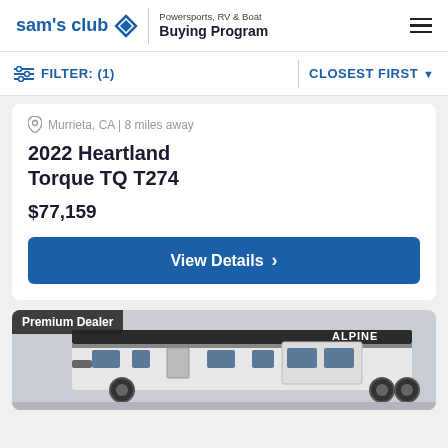Sam's Club | Powersports, RV & Boat Buying Program
FILTER: (1)   CLOSEST FIRST
Murrieta, CA | 8 miles away
2022 Heartland Torque TQ T274
$77,159
View Details
[Figure (photo): Partial view of an RV (Alpine brand) with Premium Dealer badge in upper left corner]